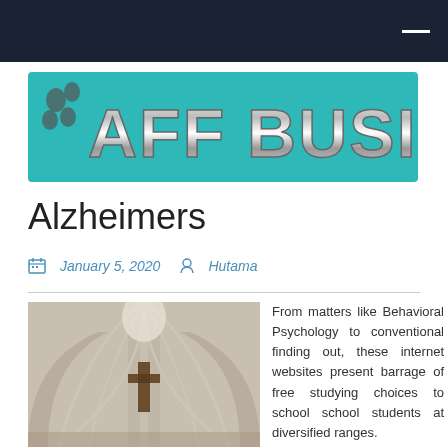[Figure (logo): AFF Business logo with teal background and chrome metallic lettering]
Alzheimers
January 5, 2020   Hutama
[Figure (photo): Interior of a Gothic church with vaulted arches and a cross visible at the altar]
From matters like Behavioral Psychology to conventional finding out, these internet websites present barrage of free studying choices to school school students at diversified ranges.